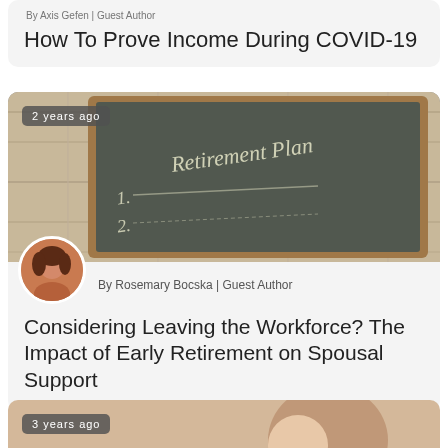By Axis Gefen | Guest Author
How To Prove Income During COVID-19
[Figure (photo): Chalkboard with 'Retirement Plan 1. 2.' written on it, with a badge reading '2 years ago']
By Rosemary Bocska | Guest Author
Considering Leaving the Workforce? The Impact of Early Retirement on Spousal Support
[Figure (photo): Partial photo card with badge reading '3 years ago']